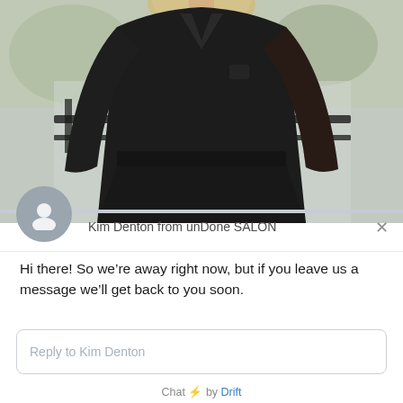[Figure (photo): A woman with blonde hair wearing a black outfit, standing in front of a dark railing fence with blurred outdoor background. A circular grey avatar icon overlaps the bottom-left of the photo.]
Kim Denton from unDone SALON
Hi there! So we’re away right now, but if you leave us a message we’ll get back to you soon.
Reply to Kim Denton
Chat ⚡ by Drift